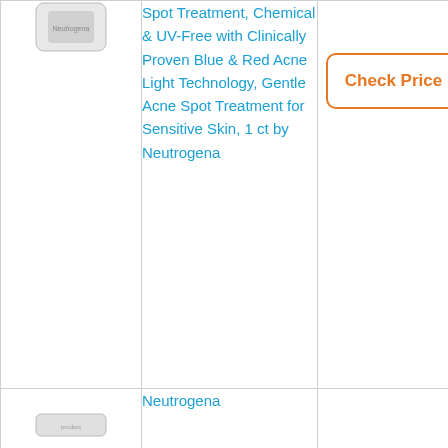| Image | Product Name | Price |
| --- | --- | --- |
| [product image] | Spot Treatment, Chemical & UV-Free with Clinically Proven Blue & Red Acne Light Technology, Gentle Acne Spot Treatment for Sensitive Skin, 1 ct by Neutrogena | Check Price |
| [product image] | Neutrogena |  |